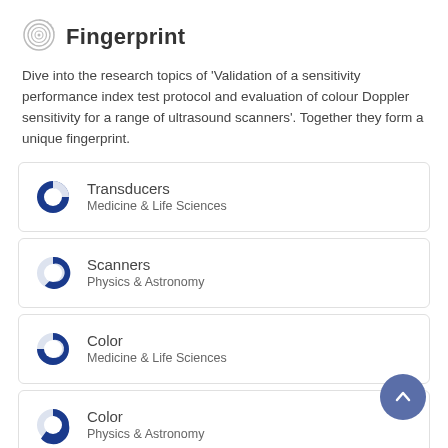Fingerprint
Dive into the research topics of 'Validation of a sensitivity performance index test protocol and evaluation of colour Doppler sensitivity for a range of ultrasound scanners'. Together they form a unique fingerprint.
Transducers — Medicine & Life Sciences
Scanners — Physics & Astronomy
Color — Medicine & Life Sciences
Color — Physics & Astronomy